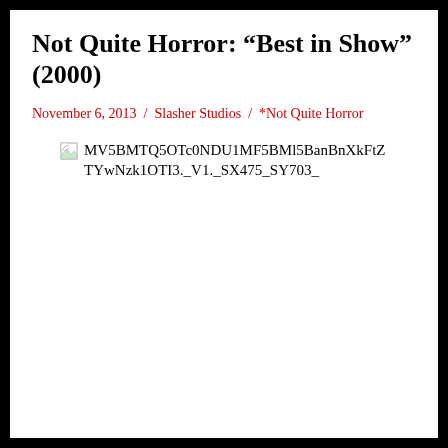Not Quite Horror: “Best in Show” (2000)
November 6, 2013 / Slasher Studios / *Not Quite Horror
[Figure (other): Broken image placeholder with filename: MV5BMTQ5OTc0NDU1MF5BMl5BanBnXkFtZTYwNzk1OTI3._V1._SX475_SY703_]